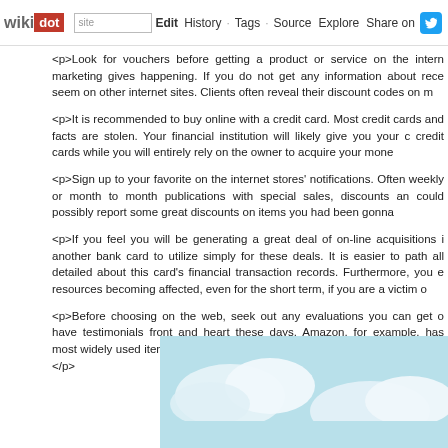wikidot — site Edit History Tags Source Explore Share on [Twitter]
<p>Look for vouchers before getting a product or service on the intern marketing gives happening. If you do not get any information about rece seem on other internet sites. Clients often reveal their discount codes on m
<p>It is recommended to buy online with a credit card. Most credit cards and facts are stolen. Your financial institution will likely give you your c credit cards while you will entirely rely on the owner to acquire your mone
<p>Sign up to your favorite on the internet stores' notifications. Often weekly or month to month publications with special sales, discounts an could possibly report some great discounts on items you had been gonna
<p>If you feel you will be generating a great deal of on-line acquisitions i another bank card to utilize simply for these deals. It is easier to path all detailed about this card's financial transaction records. Furthermore, you e resources becoming affected, even for the short term, if you are a victim o
<p>Before choosing on the web, seek out any evaluations you can get o have testimonials front and heart these days. Amazon, for example, has most widely used items. In case you have concerns before purchasing, start.</p>
[Figure (illustration): Partial view of a sky/clouds illustration with light blue background and white cloud shapes at the bottom of the page]